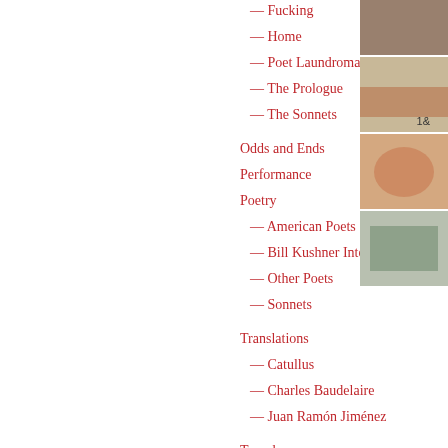— Fucking
— Home
— Poet Laundromat
— The Prologue
— The Sonnets
Odds and Ends
Performance
Poetry
— American Poets
— Bill Kushner Interview
— Other Poets
— Sonnets
Translations
— Catullus
— Charles Baudelaire
— Juan Ramón Jiménez
Travel
— China Journal
— From Notebooks Kept
— Guatemala Notebooks